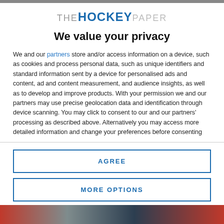[Figure (logo): The Hockey Paper logo with stylized text: THE HOCKEY PAPER]
We value your privacy
We and our partners store and/or access information on a device, such as cookies and process personal data, such as unique identifiers and standard information sent by a device for personalised ads and content, ad and content measurement, and audience insights, as well as to develop and improve products. With your permission we and our partners may use precise geolocation data and identification through device scanning. You may click to consent to our and our partners' processing as described above. Alternatively you may access more detailed information and change your preferences before consenting
AGREE
MORE OPTIONS
[Figure (photo): Partial image at the bottom of the page showing hockey-related content]